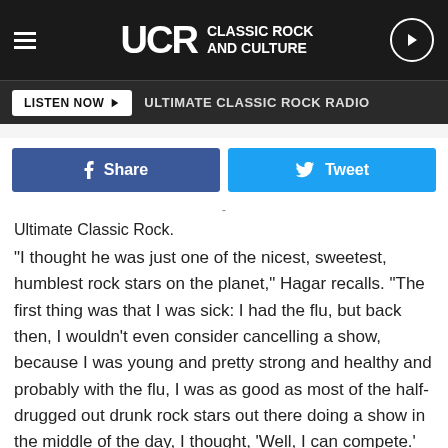UCR Classic Rock and Culture
LISTEN NOW | ULTIMATE CLASSIC ROCK RADIO
Share   Tweet
-
Ultimate Classic Rock.
“I thought he was just one of the nicest, sweetest, humblest rock stars on the planet,” Hagar recalls. “The first thing was that I was sick: I had the flu, but back then, I wouldn’t even consider cancelling a show, because I was young and pretty strong and healthy and probably with the flu, I was as good as most of the half-drugged out drunk rock stars out there doing a show in the middle of the day, I thought, ‘Well, I can compete.’ [Laughs] So I would do a show anyways, as painful as it was. So I was sick and just dehydrated [on that day in